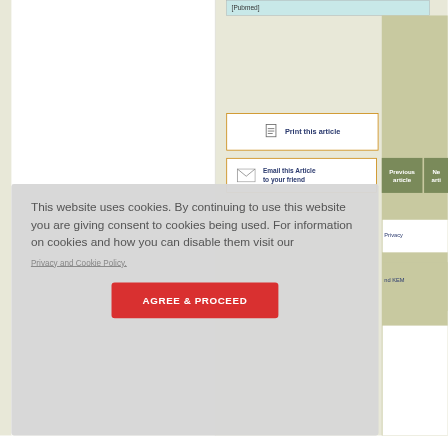[Pubmed]
[Figure (screenshot): Print this article button with document icon, orange border]
[Figure (screenshot): Email this Article to your friend button with envelope icon, orange border]
[Figure (screenshot): Previous article and Next article navigation buttons, olive/green background]
This website uses cookies. By continuing to use this website you are giving consent to cookies being used. For information on cookies and how you can disable them visit our
Privacy and Cookie Policy.
AGREE & PROCEED